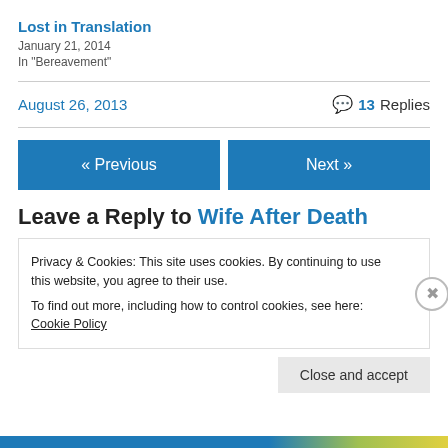Lost in Translation
January 21, 2014
In "Bereavement"
August 26, 2013   13 Replies
« Previous
Next »
Leave a Reply to Wife After Death
Privacy & Cookies: This site uses cookies. By continuing to use this website, you agree to their use.
To find out more, including how to control cookies, see here: Cookie Policy
Close and accept